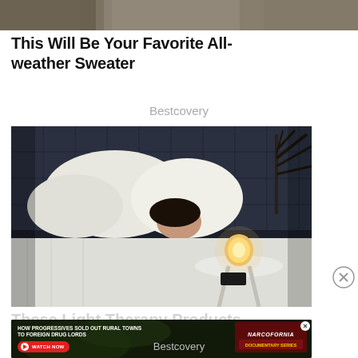[Figure (photo): Partial top of a curtain/fabric photo cropped at the top of the page]
This Will Be Your Favorite All-weather Sweater
Bestcovery
[Figure (photo): Woman sleeping in bed with white pillows and bedding, a glowing round light on a small white side table, and a dark plant in the background]
[Figure (other): Close button circle with X]
These Light Therapy Products...
[Figure (other): Advertisement banner: HOW PROGRESSIVES SOLD OUT RURAL TOWNS TO FOREIGN DRUG LORDS - NARCOFORNIA - WATCH NOW]
Bestcovery